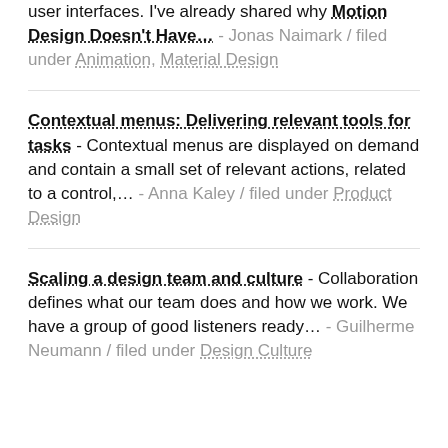user interfaces. I've already shared why Motion Design Doesn't Have… - Jonas Naimark / filed under Animation, Material Design
Contextual menus: Delivering relevant tools for tasks - Contextual menus are displayed on demand and contain a small set of relevant actions, related to a control,… - Anna Kaley / filed under Product Design
Scaling a design team and culture - Collaboration defines what our team does and how we work. We have a group of good listeners ready… - Guilherme Neumann / filed under Design Culture